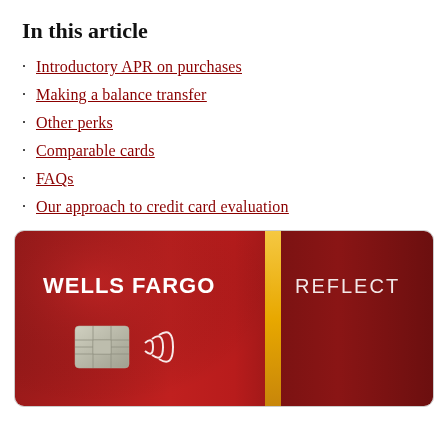In this article
Introductory APR on purchases
Making a balance transfer
Other perks
Comparable cards
FAQs
Our approach to credit card evaluation
[Figure (photo): Wells Fargo Reflect credit card — red card with gold vertical stripe, WELLS FARGO text on left panel, REFLECT text on right panel, chip and contactless symbol visible]